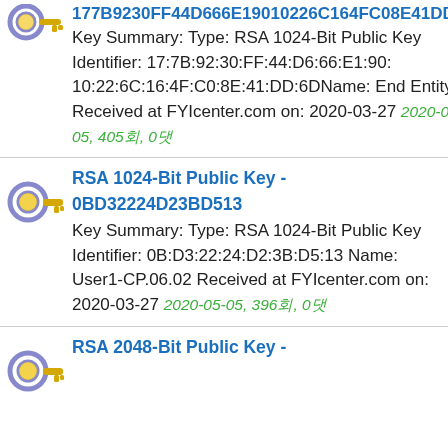177B9230FF44D666E19010226C164FC08E41DD6D
Key Summary: Type: RSA 1024-Bit Public Key Identifier: 17:7B:92:30:FF:44:D6:66:E1:90:10:22:6C:16:4F:C0:8E:41:DD:6DName: End Entity Received at FYIcenter.com on: 2020-03-27 2020-05-05, 405회, 0댓
RSA 1024-Bit Public Key - 0BD32224D23BD513
Key Summary: Type: RSA 1024-Bit Public Key Identifier: 0B:D3:22:24:D2:3B:D5:13 Name: User1-CP.06.02 Received at FYIcenter.com on: 2020-03-27 2020-05-05, 396회, 0댓
RSA 2048-Bit Public Key -